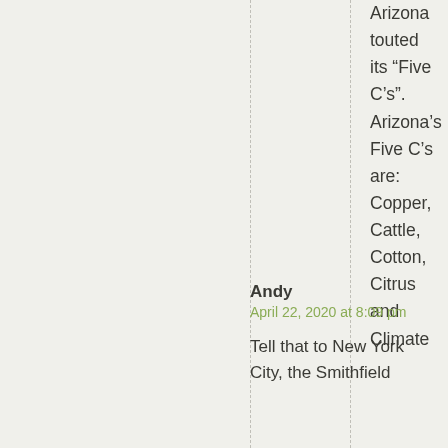Arizona touted its “Five C’s”. Arizona’s Five C’s are: Copper, Cattle, Cotton, Citrus and Climate
Andy
April 22, 2020 at 8:09 pm
Tell that to New York City, the Smithfield